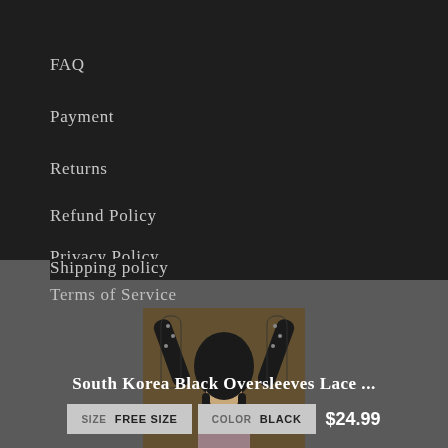Help Center
FAQ
Payment
Returns
Refund Policy
Privacy Policy
Shipping policy
Terms of Service
[Figure (photo): Woman wearing black lace oversleeves with studs, raising arms above head]
South Korea Black Oversleeves Lace ...
SIZE  FREE SIZE    COLOR  BLACK    $24.99